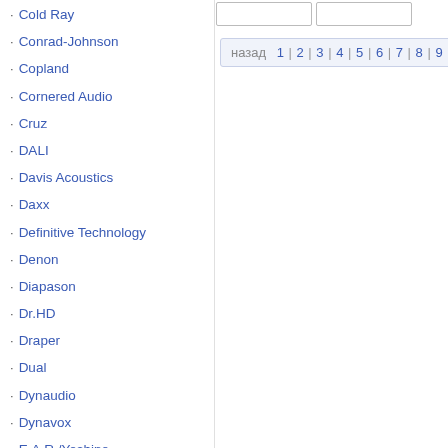Cold Ray
Conrad-Johnson
Copland
Cornered Audio
Cruz
DALI
Davis Acoustics
Daxx
Definitive Technology
Denon
Diapason
Dr.HD
Draper
Dual
Dynaudio
Dynavox
E.A.R./Yoshino
ELAC
Elipson
Emotiva
Essential Audio Tools
Exposure
FiiO
Final Audio
назад 1 | 2 | 3 | 4 | 5 | 6 | 7 | 8 | 9 | 10 | 11